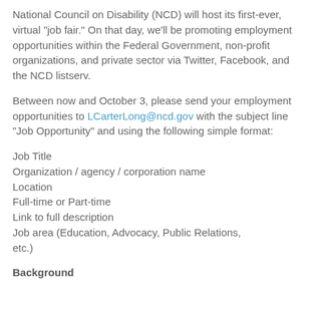National Council on Disability (NCD) will host its first-ever, virtual "job fair." On that day, we'll be promoting employment opportunities within the Federal Government, non-profit organizations, and private sector via Twitter, Facebook, and the NCD listserv.
Between now and October 3, please send your employment opportunities to LCarterLong@ncd.gov with the subject line "Job Opportunity" and using the following simple format:
Job Title
Organization / agency / corporation name
Location
Full-time or Part-time
Link to full description
Job area (Education, Advocacy, Public Relations, etc.)
Background